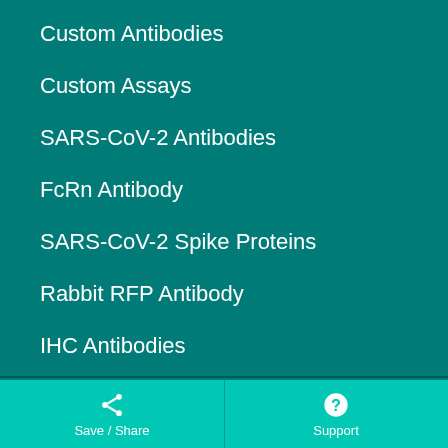Custom Antibodies
Custom Assays
SARS-CoV-2 Antibodies
FcRn Antibody
SARS-CoV-2 Spike Proteins
Rabbit RFP Antibody
IHC Antibodies
ELISA Kits
CUT&RUN Sets
Save / Share   Support